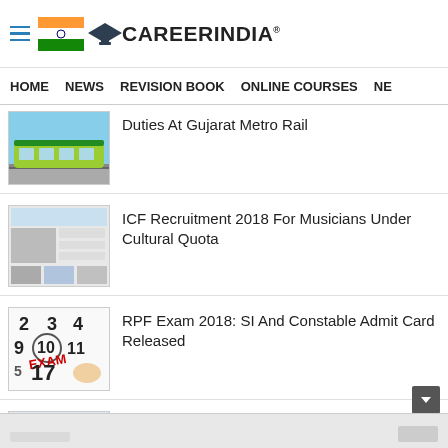CareerIndia
HOME NEWS REVISION BOOK ONLINE COURSES NE
Duties At Gujarat Metro Rail
ICF Recruitment 2018 For Musicians Under Cultural Quota
RPF Exam 2018: SI And Constable Admit Card Released
ICF Recruitment 2018 For Executive Assistants